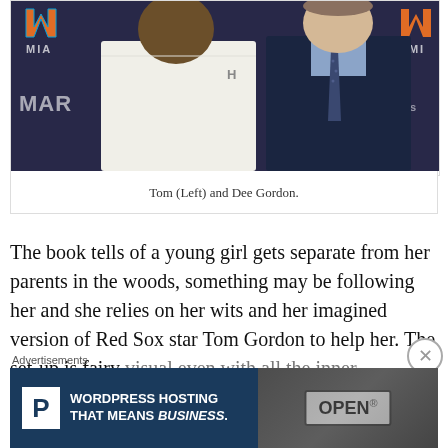[Figure (photo): Two men posing together in front of Miami Marlins branded backdrop. Left person is a large Black man wearing a white polo shirt with Under Armour logo. Right person is a white man in a dark navy suit with light blue shirt and dotted tie.]
Tom (Left) and Dee Gordon.
The book tells of a young girl gets separate from her parents in the woods, something may be following her and she relies on her wits and her imagined version of Red Sox star Tom Gordon to help her. The set-up is fairy visual even with all the inner monologue in the
Advertisements
[Figure (photo): WordPress Hosting advertisement banner. Dark blue left side with P logo and text 'WORDPRESS HOSTING THAT MEANS BUSINESS.' Right side shows a photo of an OPEN sign.]